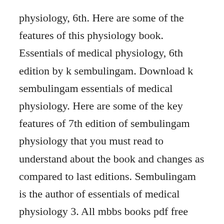physiology, 6th. Here are some of the features of this physiology book. Essentials of medical physiology, 6th edition by k sembulingam. Download k sembulingam essentials of medical physiology. Here are some of the key features of 7th edition of sembulingam physiology that you must read to understand about the book and changes as compared to last editions. Sembulingam is the author of essentials of medical physiology 3. All mbbs books pdf free download 1st year to final year mbbs. Long and short questions are featured at the end of each section to assist revision